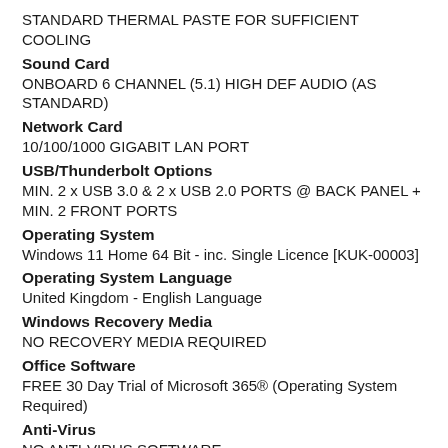STANDARD THERMAL PASTE FOR SUFFICIENT COOLING
Sound Card
ONBOARD 6 CHANNEL (5.1) HIGH DEF AUDIO (AS STANDARD)
Network Card
10/100/1000 GIGABIT LAN PORT
USB/Thunderbolt Options
MIN. 2 x USB 3.0 & 2 x USB 2.0 PORTS @ BACK PANEL + MIN. 2 FRONT PORTS
Operating System
Windows 11 Home 64 Bit - inc. Single Licence [KUK-00003]
Operating System Language
United Kingdom - English Language
Windows Recovery Media
NO RECOVERY MEDIA REQUIRED
Office Software
FREE 30 Day Trial of Microsoft 365® (Operating System Required)
Anti-Virus
NO ANTI-VIRUS SOFTWARE
Browser
Microsoft Edge